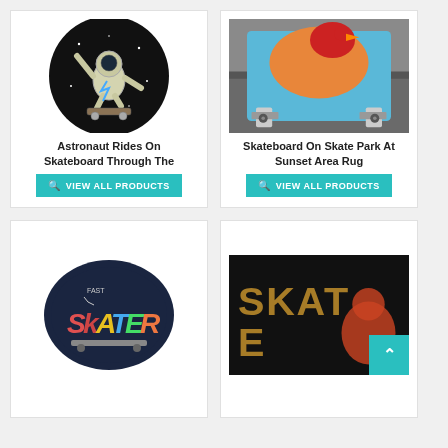[Figure (illustration): Astronaut riding skateboard on black circular background with stars]
Astronaut Rides On Skateboard Through The
VIEW ALL PRODUCTS
[Figure (photo): Skateboard resting on skate park surface at sunset, colorful deck visible]
Skateboard On Skate Park At Sunset Area Rug
VIEW ALL PRODUCTS
[Figure (illustration): Fast Skater logo text on dark navy circular background with colorful lettering]
[Figure (illustration): Dark skateboard graphic with golden/orange text spelling SKATE with teal badge and upward chevron arrow]